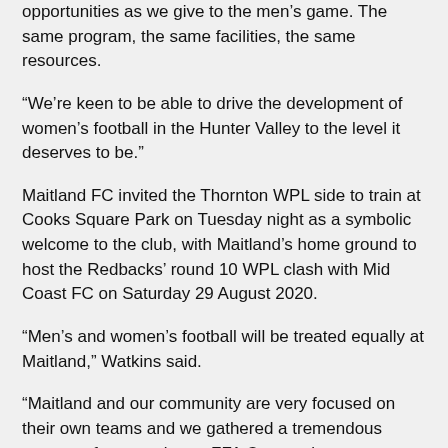opportunities as we give to the men's game. The same program, the same facilities, the same resources.
“We’re keen to be able to drive the development of women’s football in the Hunter Valley to the level it deserves to be.”
Maitland FC invited the Thornton WPL side to train at Cooks Square Park on Tuesday night as a symbolic welcome to the club, with Maitland’s home ground to host the Redbacks’ round 10 WPL clash with Mid Coast FC on Saturday 29 August 2020.
“Men’s and women’s football will be treated equally at Maitland,” Watkins said.
“Maitland and our community are very focused on their own teams and we gathered a tremendous amount of support in our FFA Cup run last year where we hosted the Central Coast Mariners at Maitland Sportsground.
“By increasing the profile of the women’s game, it will only benefit the club in general throughout the community and corporate sector and just boost the momentum and awareness of the club.”
With an eye to adequate facilities being a challenge for the community...